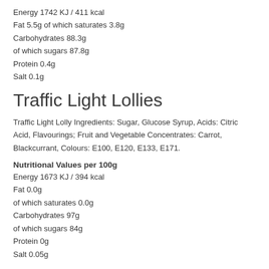Energy 1742 KJ / 411 kcal
Fat 5.5g of which saturates 3.8g
Carbohydrates 88.3g
of which sugars 87.8g
Protein 0.4g
Salt 0.1g
Traffic Light Lollies
Traffic Light Lolly Ingredients: Sugar, Glucose Syrup, Acids: Citric Acid, Flavourings; Fruit and Vegetable Concentrates: Carrot, Blackcurrant, Colours: E100, E120, E133, E171.
Nutritional Values per 100g
Energy 1673 KJ / 394 kcal
Fat 0.0g
of which saturates 0.0g
Carbohydrates 97g
of which sugars 84g
Protein 0g
Salt 0.05g